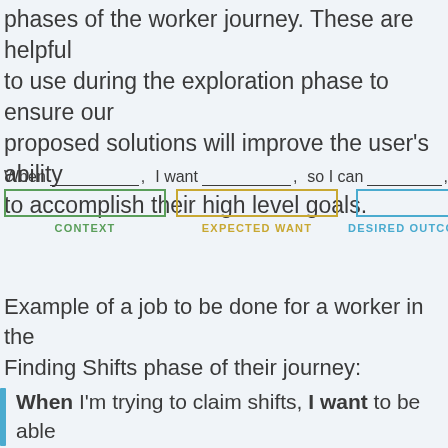phases of the worker journey. These are helpful to use during the exploration phase to ensure our proposed solutions will improve the user's ability to accomplish their high level goals.
[Figure (infographic): Job-to-be-done formula diagram showing: 'When [blank], I want [blank], so I can [blank],' with three colored boxes labeled CONTEXT (green), EXPECTED WANT (orange), DESIRED OUTCOME (blue).]
Example of a job to be done for a worker in the Finding Shifts phase of their journey:
When I'm trying to claim shifts, I want to be able to quickly see shifts that match my availability and